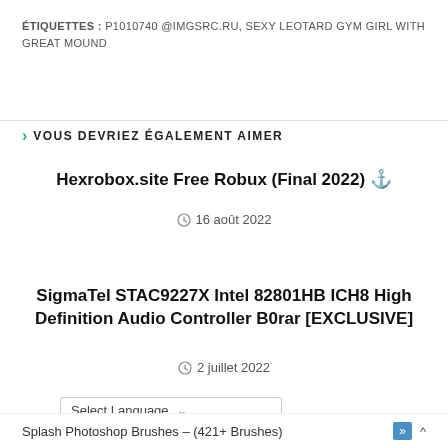ÉTIQUETTES : P1010740 @IMGSRC.RU, SEXY LEOTARD GYM GIRL WITH GREAT MOUND
VOUS DEVRIEZ ÉGALEMENT AIMER
Hexrobox.site Free Robux (Final 2022) ⚓
16 août 2022
SigmaTel STAC9227X Intel 82801HB ICH8 High Definition Audio Controller B0rar [EXCLUSIVE]
2 juillet 2022
Select Language
Splash Photoshop Brushes – (421+ Brushes)